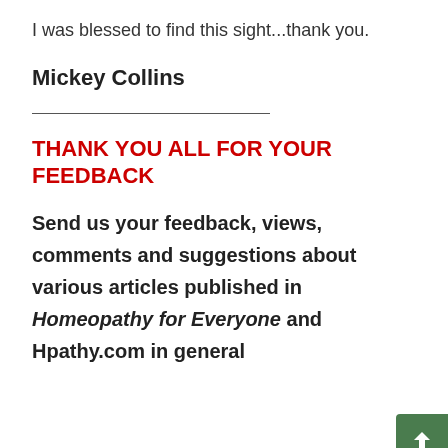I was blessed to find this sight...thank you.
Mickey Collins
THANK YOU ALL FOR YOUR FEEDBACK
Send us your feedback, views, comments and suggestions about various articles published in Homeopathy for Everyone and Hpathy.com in general